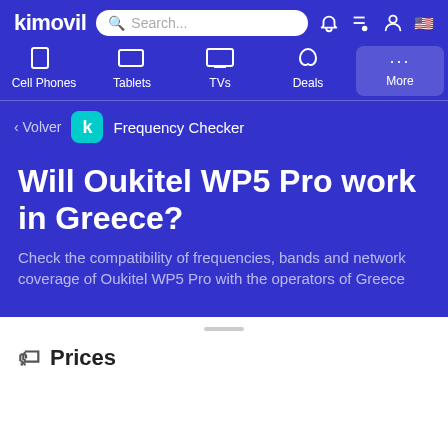kimovil — Search... navigation bar with Cell Phones, Tablets, TVs, Deals, More
< Volver   Frequency Checker
Will Oukitel WP5 Pro work in Greece?
Check the compatibility of frequencies, bands and network coverage of Oukitel WP5 Pro with the operators of Greece
Prices